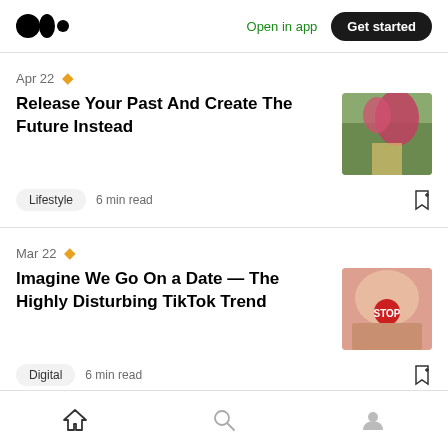Medium logo | Open in app | Get started
Apr 22 ★
Release Your Past And Create The Future Instead
Lifestyle  6 min read
[Figure (photo): Hands holding a red butterfly outdoors]
Mar 22 ★
Imagine We Go On a Date — The Highly Disturbing TikTok Trend
Digital  6 min read
[Figure (photo): Hands showing a stop sign sticker on palm]
Home | Search | Profile